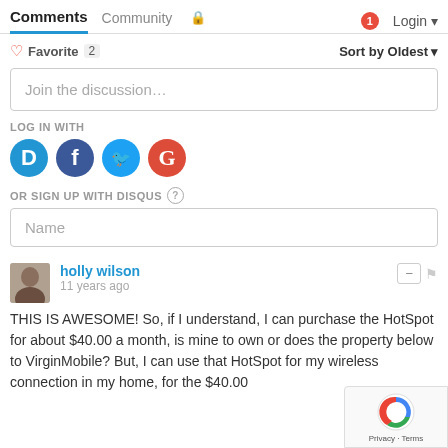Comments  Community  Login
♡ Favorite 2   Sort by Oldest
Join the discussion…
LOG IN WITH
[Figure (other): Social login icons: Disqus (D), Facebook (f), Twitter bird, Google (G)]
OR SIGN UP WITH DISQUS ?
Name
holly wilson
11 years ago
THIS IS AWESOME!  So, if I understand, I can purchase the HotSpot for about $40.00 a month, is mine to own or does the property below to VirginMobile?  But, I can use that HotSpot for my wireless connection in my home, for the $40.00